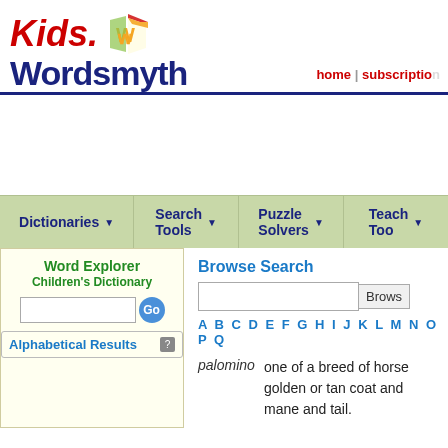[Figure (logo): Kids.Wordsmyth logo with colorful book icon and red/blue text]
home | subscription
[Figure (screenshot): Navigation bar with Dictionaries, Search Tools, Puzzle Solvers, Teacher Tools]
Word Explorer Children's Dictionary
Alphabetical Results
Browse Search
A B C D E F G H I J K L M N O P Q
palomino   one of a breed of horse with a golden or tan coat and mane and tail.